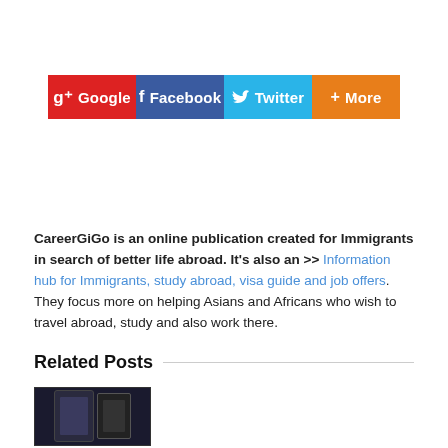[Figure (infographic): Social sharing buttons row: Google+ (red), Facebook (blue), Twitter (light blue), More (orange)]
CareerGiGo is an online publication created for Immigrants in search of better life abroad. It's also an >> Information hub for Immigrants, study abroad, visa guide and job offers. They focus more on helping Asians and Africans who wish to travel abroad, study and also work there.
Related Posts
[Figure (photo): Two smartphones shown side by side, dark colored devices]